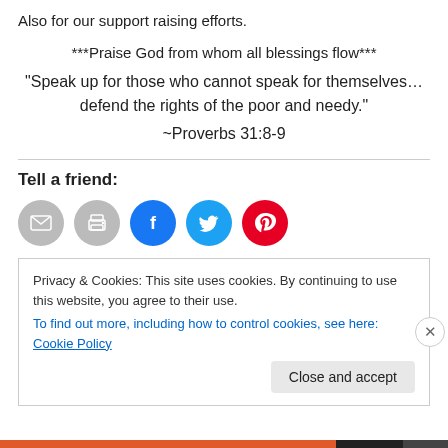Also for our support raising efforts.
***Praise God from whom all blessings flow***
“Speak up for those who cannot speak for themselves… defend the rights of the poor and needy.”
~Proverbs 31:8-9
Tell a friend:
[Figure (other): Social sharing icon buttons: email (grey), print (grey), Facebook (blue), Twitter (cyan), Pinterest (red)]
Privacy & Cookies: This site uses cookies. By continuing to use this website, you agree to their use.
To find out more, including how to control cookies, see here: Cookie Policy